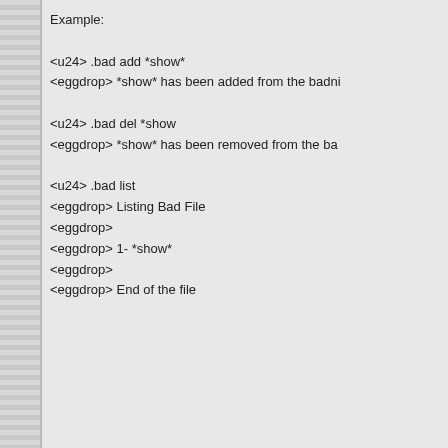Example:
<u24> .bad add *show*
<eggdrop> *show* has been added from the badnick

<u24> .bad del *show
<eggdrop> *show* has been removed from the ba

<u24> .bad list
<eggdrop> Listing Bad File
<eggdrop>
<eggdrop> 1- *show*
<eggdrop>
<eggdrop> End of the file
Back to top
arfer
Master
Joined: 26 Nov 2004
Posts: 436
Location: Manchester, UK
Posted: Mon Mar 28, 2011 5:11 pm    Post subject:
Give this script a try. I've done a limited amount of
Code:
# badnick.tcl